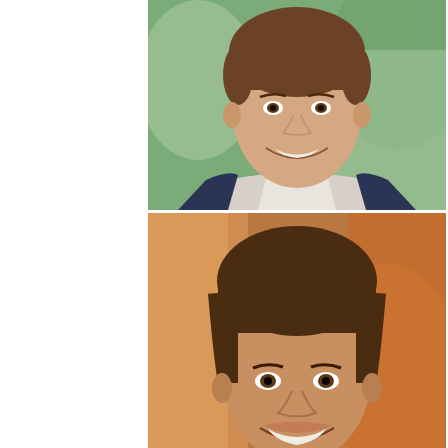[Figure (photo): Top photo: young man smiling, dark hair, wearing dark jacket and light collared shirt, blurred colorful background]
[Figure (photo): Bottom photo: same young man smiling, darker hair, wearing dark jacket and light collared shirt, blurred warm background, watermark 'EXCLUSIVE' in lower left]
Dr. Phil said to Burke in the interview: There still are people who believe that you killed your sister. What do you say about that?